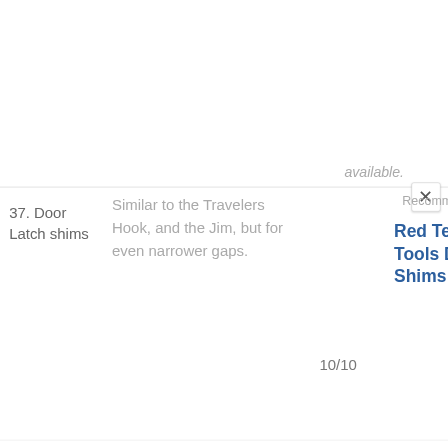available.
| Item | Description | Score | Recommended |
| --- | --- | --- | --- |
| 37. Door Latch shims | Similar to the Travelers Hook, and the Jim, but for even narrower gaps. | 10/10 | Red Team Tools Door Shims |
| 38. Strong Magnet | If you've seen the videos of LPL using Magnets, you know what I'm talking about. | 6/10 | Sparrows The Magneto |